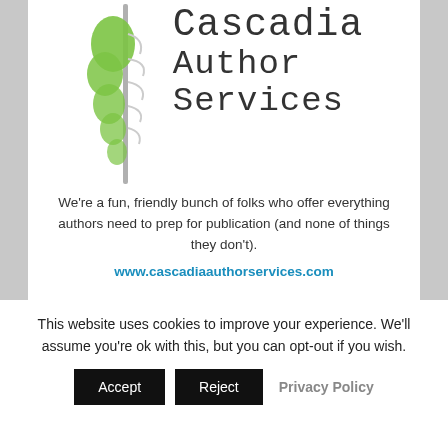[Figure (logo): Cascadia Author Services logo — stylized tree/feather illustration in green and gray beside the text 'Cascadia Author Services' in monospace font]
We're a fun, friendly bunch of folks who offer everything authors need to prep for publication (and none of things they don't). www.cascadiaauthorservices.com
This website uses cookies to improve your experience. We'll assume you're ok with this, but you can opt-out if you wish.
Accept  Reject  Privacy Policy